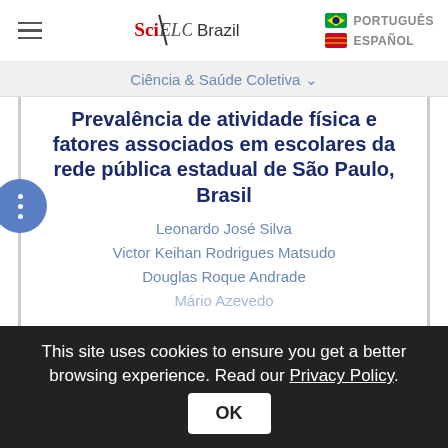SciELO Brazil | PORTUGUÊS | ESPAÑOL
Ciência & Saúde Coletiva ˅
Prevalência de atividade física e fatores associados em escolares da rede pública estadual de São Paulo, Brasil
Leonardo José Silva
Victor Keihan Rodrigues Matsudo
Douglas Roque Andrade
Mário Azevedo
This site uses cookies to ensure you get a better browsing experience. Read our Privacy Policy.